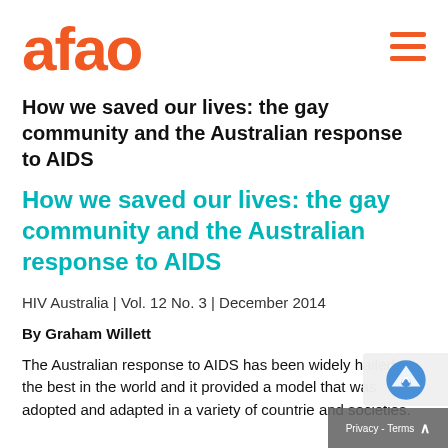[Figure (logo): AFAO logo in orange text, large bold lowercase 'afao']
How we saved our lives: the gay community and the Australian response to AIDS
How we saved our lives: the gay community and the Australian response to AIDS
HIV Australia | Vol. 12 No. 3 | December 2014
By Graham Willett
The Australian response to AIDS has been widely hailed as the best in the world and it provided a model that was adopted and adapted in a variety of countries and societies.